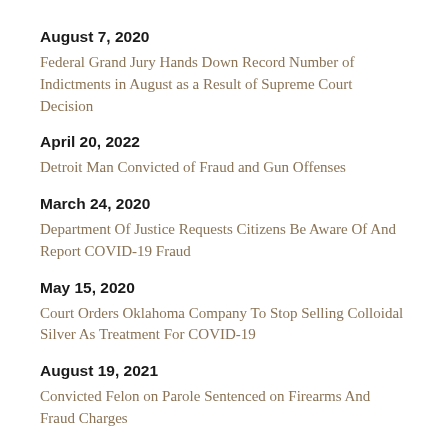August 7, 2020
Federal Grand Jury Hands Down Record Number of Indictments in August as a Result of Supreme Court Decision
April 20, 2022
Detroit Man Convicted of Fraud and Gun Offenses
March 24, 2020
Department Of Justice Requests Citizens Be Aware Of And Report COVID-19 Fraud
May 15, 2020
Court Orders Oklahoma Company To Stop Selling Colloidal Silver As Treatment For COVID-19
August 19, 2021
Convicted Felon on Parole Sentenced on Firearms And Fraud Charges